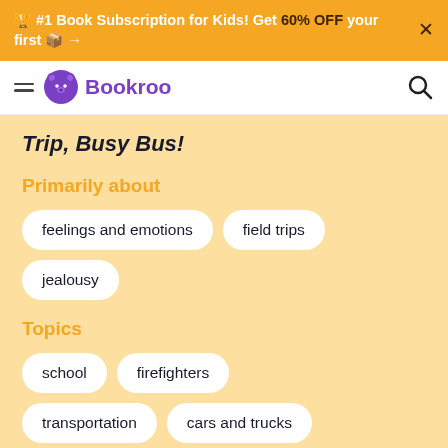🏆 #1 Book Subscription for Kids! Get 60% OFF your first 📦 →
Bookroo
Trip, Busy Bus!
Primarily about
feelings and emotions
field trips
jealousy
Topics
school
firefighters
transportation
cars and trucks